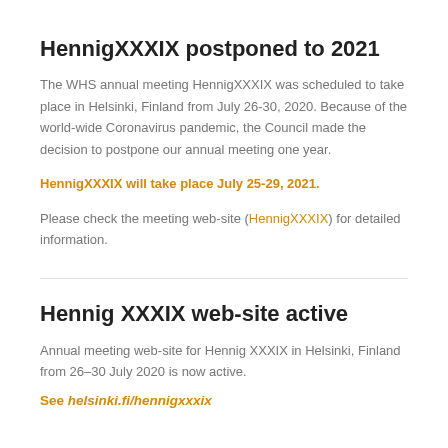HennigXXXIX postponed to 2021
The WHS annual meeting HennigXXXIX was scheduled to take place in Helsinki, Finland from July 26-30, 2020. Because of the world-wide Coronavirus pandemic, the Council made the decision to postpone our annual meeting one year.
HennigXXXIX will take place July 25-29, 2021.
Please check the meeting web-site (HennigXXXIX) for detailed information.
Hennig XXXIX web-site active
Annual meeting web-site for Hennig XXXIX in Helsinki, Finland from 26–30 July 2020 is now active.
See helsinki.fi/hennigxxxix